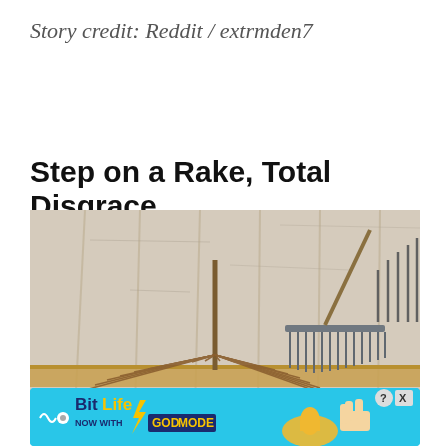Story credit: Reddit / extrmden7
Step on a Rake, Total Disgrace
[Figure (photo): Photograph of two rakes — a fan/leaf rake with many spread tines on the left and a metal garden rake on the right — leaning against a weathered light-colored wooden board wall background.]
[Figure (other): BitLife advertisement banner: 'NOW WITH GOD MODE' on a turquoise background with lightning bolt and hand graphic. Includes close (X) and help (?) buttons.]